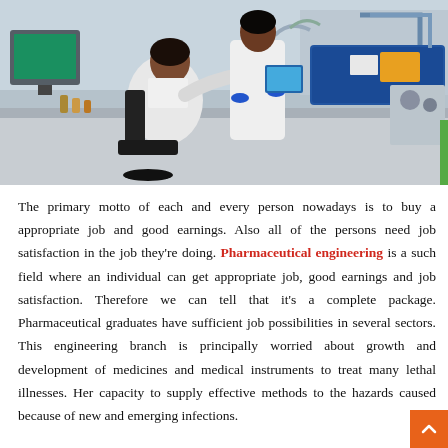[Figure (photo): Two scientists/researchers in white lab coats and blue gloves working in a laboratory setting with equipment on a bench. One is seated at a computer/monitor, another is standing. Blue and white laboratory instruments visible in background.]
The primary motto of each and every person nowadays is to buy a appropriate job and good earnings. Also all of the persons need job satisfaction in the job they're doing. Pharmaceutical engineering is a such field where an individual can get appropriate job, good earnings and job satisfaction. Therefore we can tell that it's a complete package. Pharmaceutical graduates have sufficient job possibilities in several sectors. This engineering branch is principally worried about growth and development of medicines and medical instruments to treat many lethal illnesses. Her capacity to supply effective methods to the hazards caused because of new and emerging infections.